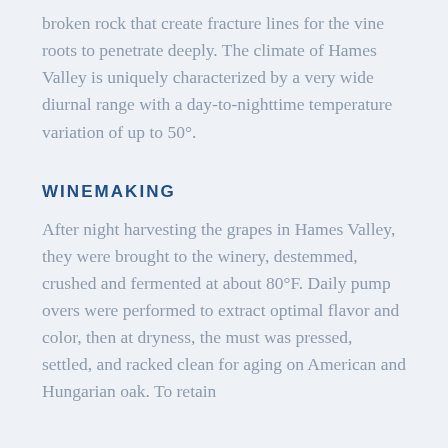broken rock that create fracture lines for the vine roots to penetrate deeply. The climate of Hames Valley is uniquely characterized by a very wide diurnal range with a day-to-nighttime temperature variation of up to 50°.
WINEMAKING
After night harvesting the grapes in Hames Valley, they were brought to the winery, destemmed, crushed and fermented at about 80°F. Daily pump overs were performed to extract optimal flavor and color, then at dryness, the must was pressed, settled, and racked clean for aging on American and Hungarian oak. To retain